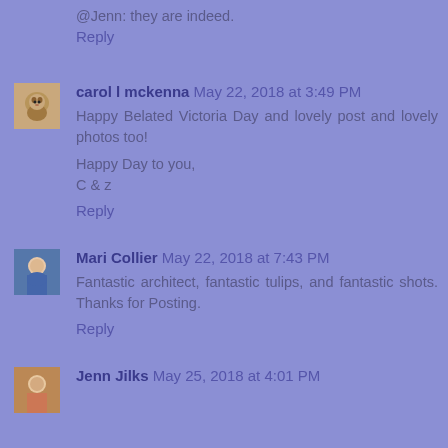@Jenn: they are indeed.
Reply
carol l mckenna May 22, 2018 at 3:49 PM
Happy Belated Victoria Day and lovely post and lovely photos too!

Happy Day to you,
C & z
Reply
Mari Collier May 22, 2018 at 7:43 PM
Fantastic architect, fantastic tulips, and fantastic shots. Thanks for Posting.
Reply
Jenn Jilks May 25, 2018 at 4:01 PM